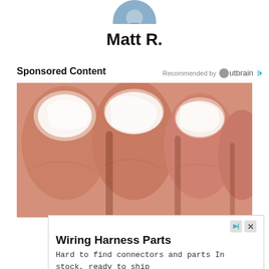[Figure (photo): Partial circular profile avatar at top center, showing blue/grey cloth or clothing]
Matt R.
Sponsored Content
Recommended by Outbrain
[Figure (photo): Close-up medical photo of toes with white cream or fungal treatment applied to toenails]
Wiring Harness Parts
Hard to find connectors and parts In stock, ready to ship
corsa-technic.com
Learn More